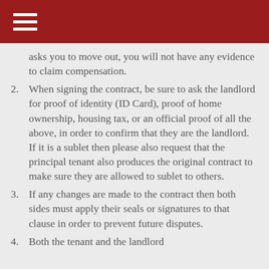asks you to move out, you will not have any evidence to claim compensation.
2. When signing the contract, be sure to ask the landlord for proof of identity (ID Card), proof of home ownership, housing tax, or an official proof of all the above, in order to confirm that they are the landlord. If it is a sublet then please also request that the principal tenant also produces the original contract to make sure they are allowed to sublet to others.
3. If any changes are made to the contract then both sides must apply their seals or signatures to that clause in order to prevent future disputes.
4. Both the tenant and the landlord